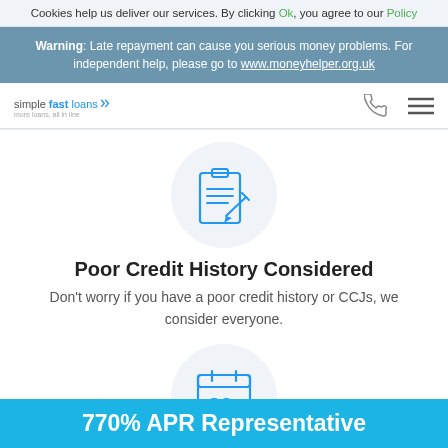Cookies help us deliver our services. By clicking Ok, you agree to our Policy
Warning: Late repayment can cause you serious money problems. For independent help, please go to www.moneyhelper.org.uk
[Figure (logo): Simple Fast Loans logo with blue chevrons]
[Figure (illustration): Clipboard with pencil icon in a light grey circle — represents credit check / application]
Poor Credit History Considered
Don't worry if you have a poor credit history or CCJs, we consider everyone.
[Figure (illustration): Calendar icon showing the number 20, partially visible at bottom of page]
770% APR Representative